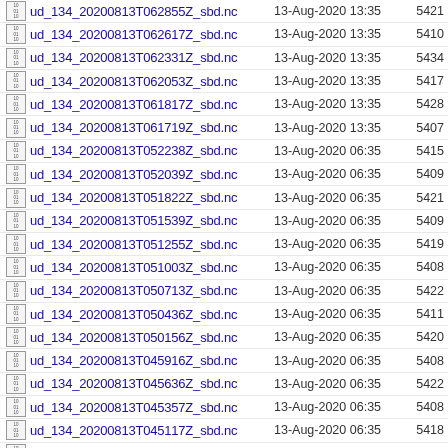ud_134_20200813T062855Z_sbd.nc  13-Aug-2020 13:35  5421
ud_134_20200813T062617Z_sbd.nc  13-Aug-2020 13:35  5410
ud_134_20200813T062331Z_sbd.nc  13-Aug-2020 13:35  5434
ud_134_20200813T062053Z_sbd.nc  13-Aug-2020 13:35  5417
ud_134_20200813T061817Z_sbd.nc  13-Aug-2020 13:35  5428
ud_134_20200813T061719Z_sbd.nc  13-Aug-2020 13:35  5407
ud_134_20200813T052238Z_sbd.nc  13-Aug-2020 06:35  5415
ud_134_20200813T052039Z_sbd.nc  13-Aug-2020 06:35  5409
ud_134_20200813T051822Z_sbd.nc  13-Aug-2020 06:35  5421
ud_134_20200813T051539Z_sbd.nc  13-Aug-2020 06:35  5409
ud_134_20200813T051255Z_sbd.nc  13-Aug-2020 06:35  5419
ud_134_20200813T051003Z_sbd.nc  13-Aug-2020 06:35  5408
ud_134_20200813T050713Z_sbd.nc  13-Aug-2020 06:35  5422
ud_134_20200813T050436Z_sbd.nc  13-Aug-2020 06:35  5411
ud_134_20200813T050156Z_sbd.nc  13-Aug-2020 06:35  5420
ud_134_20200813T045916Z_sbd.nc  13-Aug-2020 06:35  5408
ud_134_20200813T045636Z_sbd.nc  13-Aug-2020 06:35  5422
ud_134_20200813T045357Z_sbd.nc  13-Aug-2020 06:35  5408
ud_134_20200813T045117Z_sbd.nc  13-Aug-2020 06:35  5418
ud_134_20200813T044842Z_sbd.nc  13-Aug-2020 06:35  5408